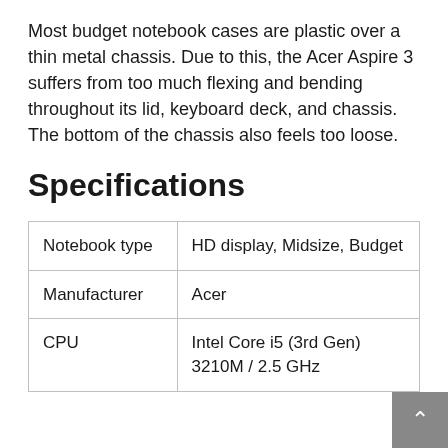Most budget notebook cases are plastic over a thin metal chassis. Due to this, the Acer Aspire 3 suffers from too much flexing and bending throughout its lid, keyboard deck, and chassis. The bottom of the chassis also feels too loose.
Specifications
| Notebook type | HD display, Midsize, Budget |
| Manufacturer | Acer |
| CPU | Intel Core i5 (3rd Gen) 3210M / 2.5 GHz |